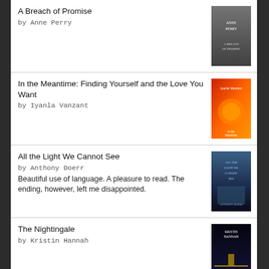A Breach of Promise by Anne Perry
In the Meantime: Finding Yourself and the Love You Want by Iyanla Vanzant
All the Light We Cannot See by Anthony Doerr. Beautiful use of language. A pleasure to read. The ending, however, left me disappointed.
The Nightingale by Kristin Hannah
The Confessions of Young Nero by Margaret George
[Figure (logo): Goodreads logo in a rounded rectangle]